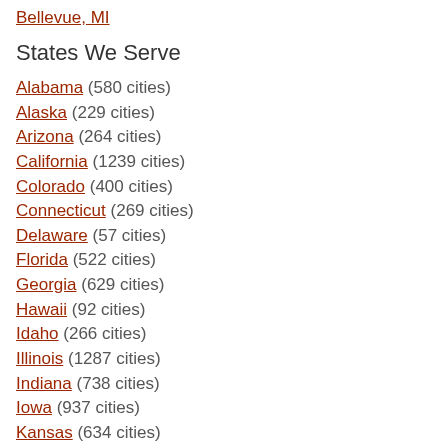Bellevue, MI
States We Serve
Alabama (580 cities)
Alaska (229 cities)
Arizona (264 cities)
California (1239 cities)
Colorado (400 cities)
Connecticut (269 cities)
Delaware (57 cities)
Florida (522 cities)
Georgia (629 cities)
Hawaii (92 cities)
Idaho (266 cities)
Illinois (1287 cities)
Indiana (738 cities)
Iowa (937 cities)
Kansas (634 cities)
Kentucky (803 cities)
Louisiana (479 cities)
Maine (460 cities)
Maryland (420 cities)